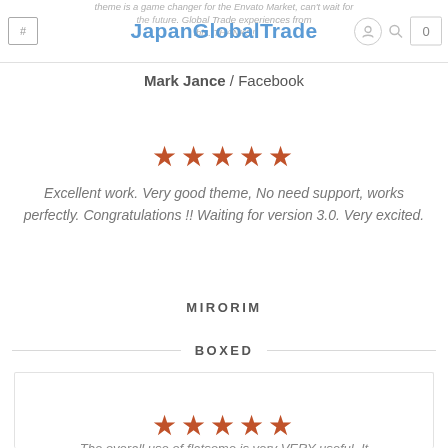JapanGlobalTrade
Mark Jance / Facebook
[Figure (other): Five orange/red star rating icons]
Excellent work. Very good theme, No need support, works perfectly. Congratulations !! Waiting for version 3.0. Very excited.
MIRORIM
BOXED
[Figure (other): Five orange/red star rating icons in a card]
The overall use of flatsome is very VERY useful. It